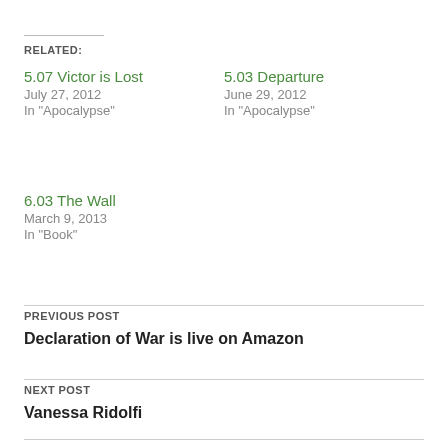RELATED:
5.07 Victor is Lost
July 27, 2012
In "Apocalypse"
5.03 Departure
June 29, 2012
In "Apocalypse"
6.03 The Wall
March 9, 2013
In "Book"
PREVIOUS POST
Declaration of War is live on Amazon
NEXT POST
Vanessa Ridolfi